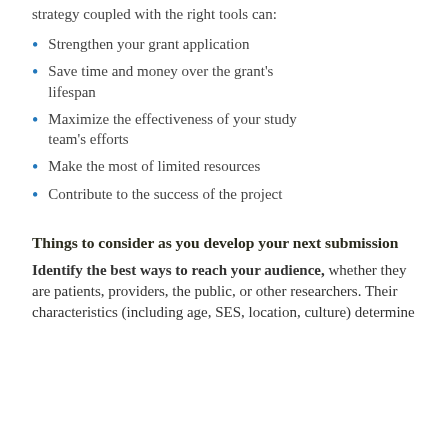strategy coupled with the right tools can:
Strengthen your grant application
Save time and money over the grant's lifespan
Maximize the effectiveness of your study team's efforts
Make the most of limited resources
Contribute to the success of the project
Things to consider as you develop your next submission
Identify the best ways to reach your audience, whether they are patients, providers, the public, or other researchers. Their characteristics (including age, SES, location, culture) determine